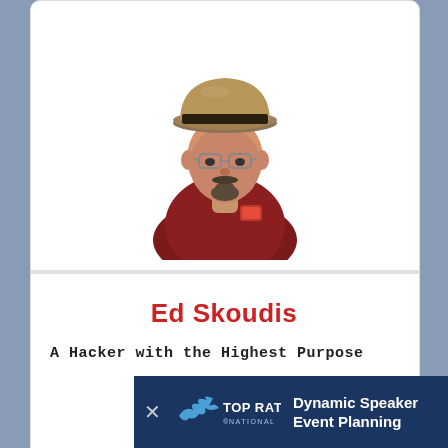[Figure (photo): Portrait photo of Ed Skoudis wearing a tan fedora hat, glasses, goatee, and dark red/maroon collared shirt with a logo on the chest pocket]
Ed Skoudis
A Hacker with the Highest Purpose
[Figure (logo): Top Rated National banner with bird logo and text 'Dynamic Speaker Event Planning']